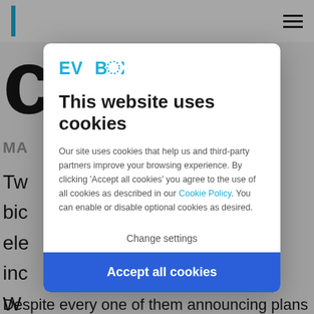[Figure (screenshot): Background webpage content partially visible behind a cookie consent modal overlay. Shows a blue vertical bar logo element, hamburger menu icon, large partial letter, and partial body text.]
This website uses cookies
[Figure (logo): EVBox logo in blue with dotted circle in the O]
Our site uses cookies that help us and third-party partners improve your browsing experience. By clicking 'Accept all cookies' you agree to the use of all cookies as described in our Cookie Policy. You can enable or disable optional cookies as desired.
Change settings
Accept all cookies